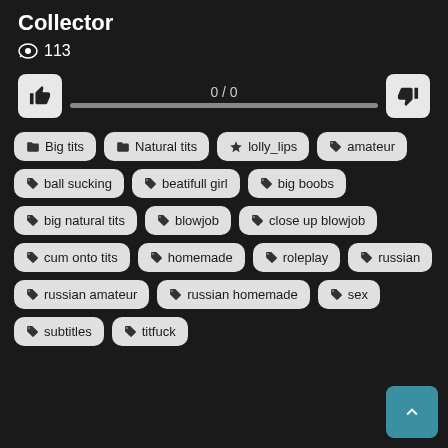Collector
👁 113
0 / 0
Big tits
Natural tits
lolly_lips
amateur
ball sucking
beatifull girl
big boobs
big natural tits
blowjob
close up blowjob
cum onto tits
homemade
roleplay
russian
russian amateur
russian homemade
sex
subtitles
titfuck